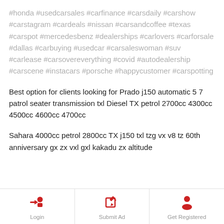#honda #usedcarsales #carfinance #carsdaily #carshow #carstagram #cardeals #nissan #carsandcoffee #texas #carspot #mercedesbenz #dealerships #carlovers #carforsale #dallas #carbuying #usedcar #carsaleswoman #suv #carlease #carsovereverything #covid #autodealership #carscene #instacars #porsche #happycustomer #carspotting
Best option for clients looking for Prado j150 automatic 5 7 patrol seater transmission txl Diesel TX petrol 2700cc 4300cc 4500cc 4600cc 4700cc
Sahara 4000cc petrol 2800cc TX j150 txl tzg vx v8 tz 60th anniversary gx zx vxl gxl kakadu zx altitude
Login | Submit Ad | Get Registered